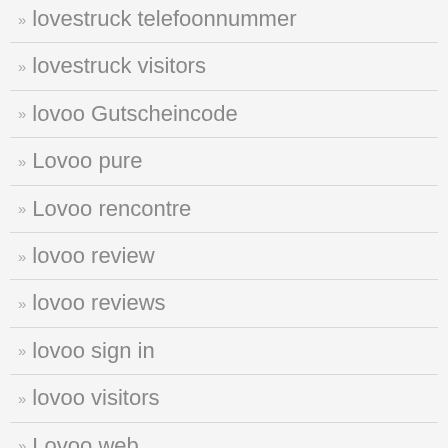» lovestruck telefoonnummer
» lovestruck visitors
» lovoo Gutscheincode
» Lovoo pure
» Lovoo rencontre
» lovoo review
» lovoo reviews
» lovoo sign in
» lovoo visitors
» Lovoo web